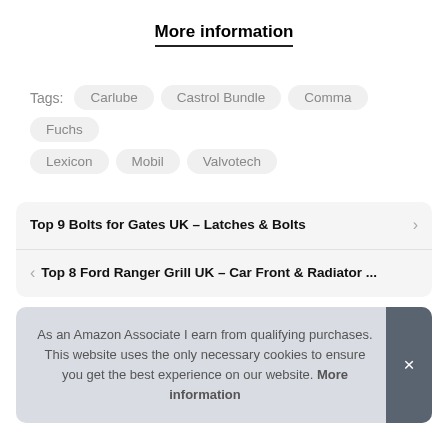More information
Tags: Carlube  Castrol Bundle  Comma  Fuchs  Lexicon  Mobil  Valvotech
Top 9 Bolts for Gates UK – Latches & Bolts
Top 8 Ford Ranger Grill UK – Car Front & Radiator ...
As an Amazon Associate I earn from qualifying purchases. This website uses the only necessary cookies to ensure you get the best experience on our website. More information